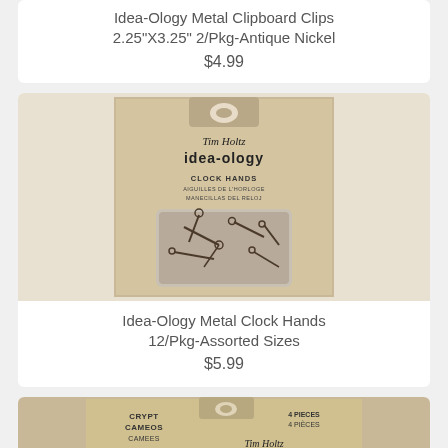Idea-Ology Metal Clipboard Clips 2.25"X3.25" 2/Pkg-Antique Nickel
$4.99
[Figure (photo): Product package photo of Idea-Ology Metal Clock Hands by Tim Holtz, showing clock hands in a plastic tray on a vintage-style tan cardboard backing]
Idea-Ology Metal Clock Hands 12/Pkg-Assorted Sizes
$5.99
[Figure (photo): Partial product package photo of Idea-Ology Crypt Cameos, 4 Pieces, showing bottom of package]